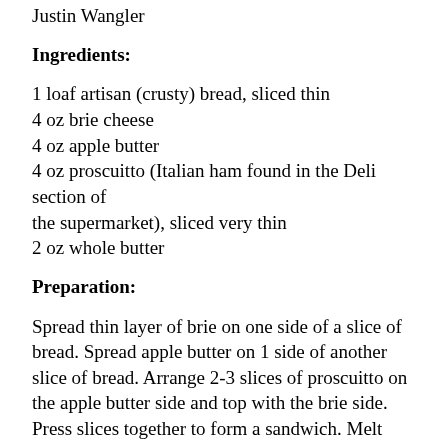Justin Wangler
Ingredients:
1 loaf artisan (crusty) bread, sliced thin
4 oz brie cheese
4 oz apple butter
4 oz proscuitto (Italian ham found in the Deli section of the supermarket), sliced very thin
2 oz whole butter
Preparation:
Spread thin layer of brie on one side of a slice of bread. Spread apple butter on 1 side of another slice of bread. Arrange 2-3 slices of proscuitto on the apple butter side and top with the brie side. Press slices together to form a sandwich. Melt butter in a sauté pan over medium-low heat. Cook sandwich on both sides until golden brown and cheese has melted. Let cool for one minute before slicing into 2-inch pieces. Serve immediately. Makes 24